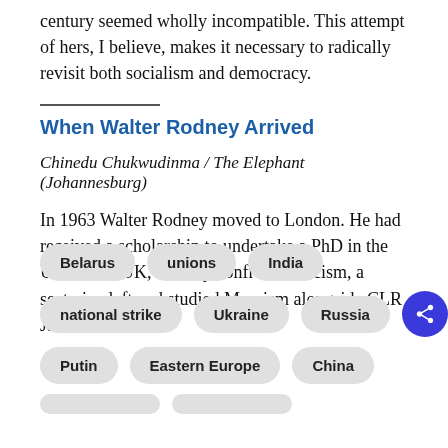century seemed wholly incompatible. This attempt of hers, I believe, makes it necessary to radically revisit both socialism and democracy.
When Walter Rodney Arrived
Chinedu Chukwudinma / The Elephant (Johannesburg)
In 1963 Walter Rodney moved to London. He had received a scholarship to undertake a PhD in the UK. In the UK, Rodney confronted racism, a sectarian left and studied Marxism alongside CLR James.
Belarus
unions
India
national strike
Ukraine
Russia
Putin
Eastern Europe
China